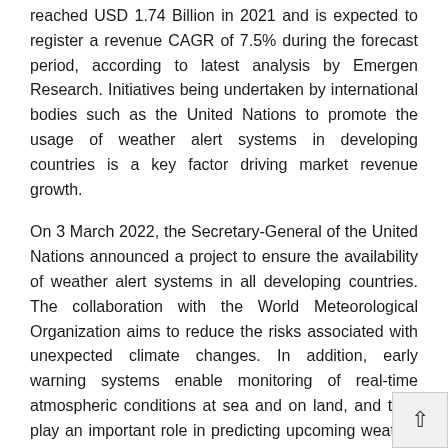reached USD 1.74 Billion in 2021 and is expected to register a revenue CAGR of 7.5% during the forecast period, according to latest analysis by Emergen Research. Initiatives being undertaken by international bodies such as the United Nations to promote the usage of weather alert systems in developing countries is a key factor driving market revenue growth.
On 3 March 2022, the Secretary-General of the United Nations announced a project to ensure the availability of weather alert systems in all developing countries. The collaboration with the World Meteorological Organization aims to reduce the risks associated with unexpected climate changes. In addition, early warning systems enable monitoring of real-time atmospheric conditions at sea and on land, and thus play an important role in predicting upcoming weather events.
Get a sample of the report @ https://www.emergenresearch.com/request-